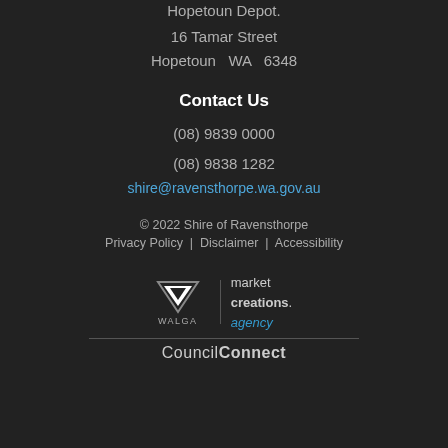Hopetoun Depot.
16 Tamar Street
Hopetoun  WA  6348
Contact Us
(08) 9839 0000
(08) 9838 1282
shire@ravensthorpe.wa.gov.au
© 2022 Shire of Ravensthorpe
Privacy Policy  |  Disclaimer  |  Accessibility
[Figure (logo): WALGA and Market Creations Agency logo with CouncilConnect branding below a horizontal divider]